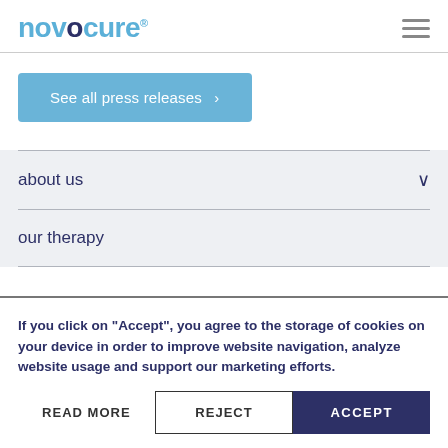novocure
See all press releases  >
about us
our therapy
If you click on "Accept", you agree to the storage of cookies on your device in order to improve website navigation, analyze website usage and support our marketing efforts.
READ MORE   REJECT   ACCEPT